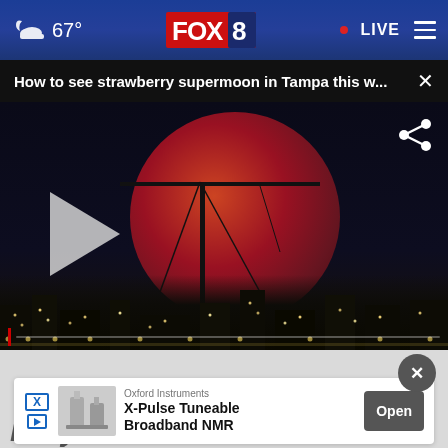67° FOX 8 LIVE
How to see strawberry supermoon in Tampa this w...
[Figure (photo): Video player showing a large red/pink supermoon rising over a city skyline with construction cranes, nighttime scene. Play button overlay visible. FOX 8 news video.]
Oxford Instruments X-Pulse Tuneable Broadband NMR Open
Daily News